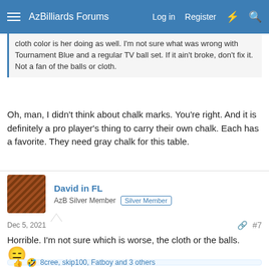AzBilliards Forums  Log in  Register
cloth color is her doing as well. I'm not sure what was wrong with Tournament Blue and a regular TV ball set. If it ain't broke, don't fix it. Not a fan of the balls or cloth.
Oh, man, I didn't think about chalk marks. You're right. And it is definitely a pro player's thing to carry their own chalk. Each has a favorite. They need gray chalk for this table.
David in FL
AzB Silver Member  Silver Member
Dec 5, 2021  #7
Horrible. I'm not sure which is worse, the cloth or the balls.
8cree, skip100, Fatboy and 3 others